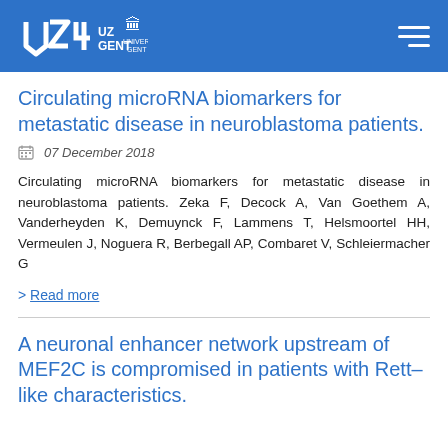UZ GENT / UNIVERSITEIT GENT
Circulating microRNA biomarkers for metastatic disease in neuroblastoma patients.
07 December 2018
Circulating microRNA biomarkers for metastatic disease in neuroblastoma patients. Zeka F, Decock A, Van Goethem A, Vanderheyden K, Demuynck F, Lammens T, Helsmoortel HH, Vermeulen J, Noguera R, Berbegall AP, Combaret V, Schleiermacher G
> Read more
A neuronal enhancer network upstream of MEF2C is compromised in patients with Rett-like characteristics.